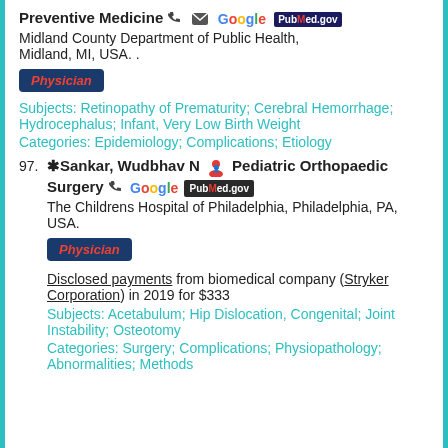Preventive Medicine
Midland County Department of Public Health, Midland, MI, USA. .
Physician
Subjects: Retinopathy of Prematurity; Cerebral Hemorrhage; Hydrocephalus; Infant, Very Low Birth Weight
Categories: Epidemiology; Complications; Etiology
97. Sankar, Wudbhav N  Pediatric Orthopaedic Surgery
The Childrens Hospital of Philadelphia, Philadelphia, PA, USA.
Physician
Disclosed payments from biomedical company (Stryker Corporation) in 2019 for $333
Subjects: Acetabulum; Hip Dislocation, Congenital; Joint Instability; Osteotomy
Categories: Surgery; Complications; Physiopathology; Abnormalities; Methods